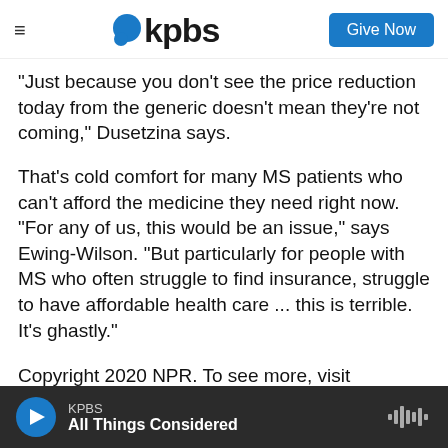kpbs | Give Now
"Just because you don't see the price reduction today from the generic doesn't mean they're not coming," Dusetzina says.
That's cold comfort for many MS patients who can't afford the medicine they need right now. "For any of us, this would be an issue," says Ewing-Wilson. "But particularly for people with MS who often struggle to find insurance, struggle to have affordable health care ... this is terrible. It's ghastly."
Copyright 2020 NPR. To see more, visit https://www.npr.org.
KPBS | All Things Considered